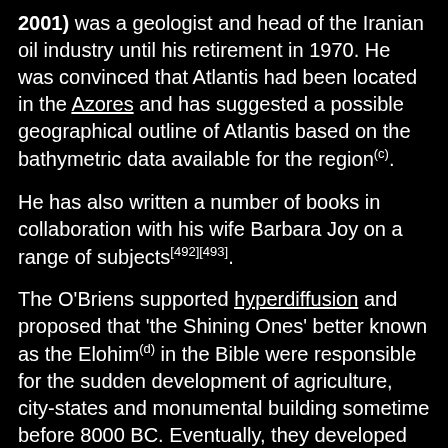2001) was a geologist and head of the Iranian oil industry until his retirement in 1970. He was convinced that Atlantis had been located in the Azores and has suggested a possible geographical outline of Atlantis based on the bathymetric data available for the region(c).
He has also written a number of books in collaboration with his wife Barbara Joy on a range of subjects[492][493].
The O'Briens supported hyperdiffusion and proposed that 'the Shining Ones' better known as the Elohim(d) in the Bible were responsible for the sudden development of agriculture, city-states and monumental building sometime before 8000 BC. Eventually, they developed colonies, spreading their knowledge which in due course was responsible for the great civilisations of Egypt, Asia and America.
In The Megalithic Odyssey [1797] O'Brien offers an overview of the many megalithic stone circles and cairns on Cornwall's Bodmin Moor. However, from chapter 6 until the end, he takes his hobby-horse for a ride, offering a convoluted account involving an order of Sumerian 'Sages'